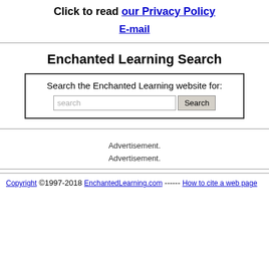Click to read our Privacy Policy
E-mail
Enchanted Learning Search
Search the Enchanted Learning website for:
Advertisement.
Advertisement.
Copyright ©1997-2018 EnchantedLearning.com ------ How to cite a web page